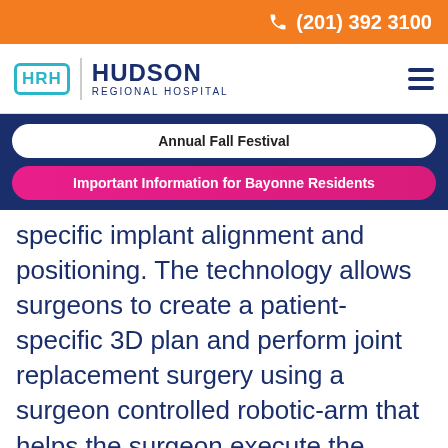(201) 392 3100
[Figure (logo): Hudson Regional Hospital logo with HRH icon and hospital name]
Annual Fall Festival
Important Information for Bayonne Residents
specific implant alignment and positioning. The technology allows surgeons to create a patient-specific 3D plan and perform joint replacement surgery using a surgeon controlled robotic-arm that helps the surgeon execute the procedure with a high degree of difficulty.